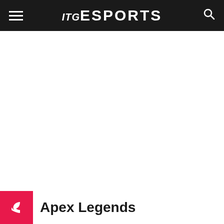ITG ESPORTS
ADVERTISEMENT
Apex Legends